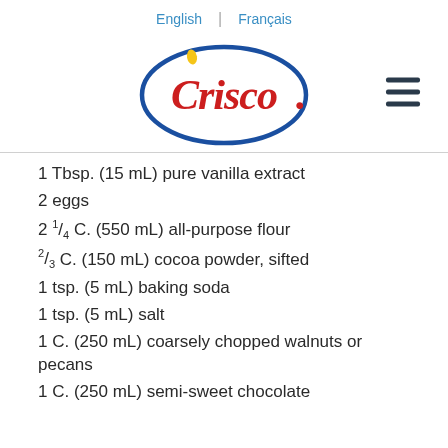English | Français
[Figure (logo): Crisco logo: red script 'Crisco.' text inside a blue oval ellipse, with a small flame/drop icon above the C]
1 Tbsp. (15 mL) pure vanilla extract
2 eggs
2 1/4 C. (550 mL) all-purpose flour
2/3 C. (150 mL) cocoa powder, sifted
1 tsp. (5 mL) baking soda
1 tsp. (5 mL) salt
1 C. (250 mL) coarsely chopped walnuts or pecans
1 C. (250 mL) semi-sweet chocolate